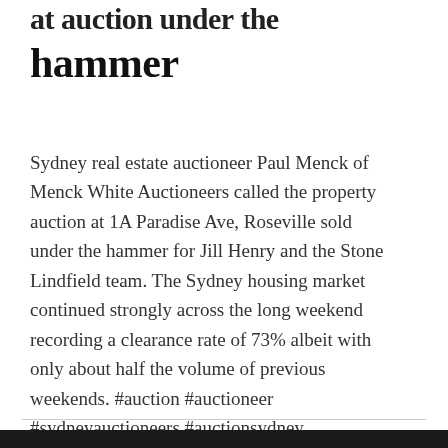hammer
Sydney real estate auctioneer Paul Menck of Menck White Auctioneers called the property auction at 1A Paradise Ave, Roseville sold under the hammer for Jill Henry and the Stone Lindfield team. The Sydney housing market continued strongly across the long weekend recording a clearance rate of 73% albeit with only about half the volume of previous weekends. #auction #auctioneer #sydneyauctioneers #auctionsydney #sydneyrealestate